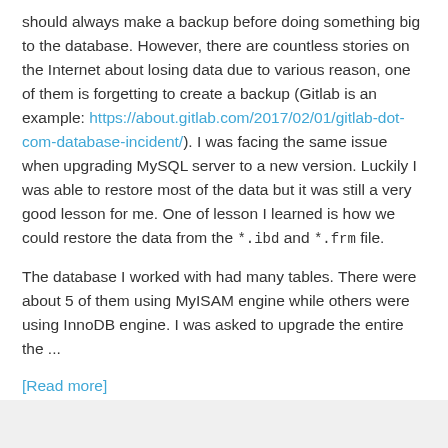should always make a backup before doing something big to the database. However, there are countless stories on the Internet about losing data due to various reason, one of them is forgetting to create a backup (Gitlab is an example: https://about.gitlab.com/2017/02/01/gitlab-dot-com-database-incident/). I was facing the same issue when upgrading MySQL server to a new version. Luckily I was able to restore most of the data but it was still a very good lesson for me. One of lesson I learned is how we could restore the data from the *.ibd and *.frm file.
The database I worked with had many tables. There were about 5 of them using MyISAM engine while others were using InnoDB engine. I was asked to upgrade the entire the ...
[Read more]